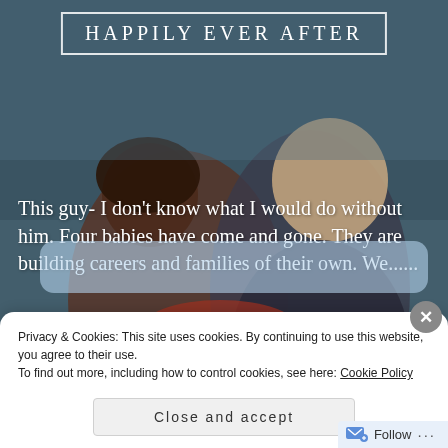[Figure (photo): A couple embracing and laughing outdoors near the ocean, with a dark teal/grey overlay tint on the background photo.]
HAPPILY EVER AFTER
This guy- I don't know what I would do without him. Four babies have come and gone. They are building careers and families of their own. We......
Privacy & Cookies: This site uses cookies. By continuing to use this website, you agree to their use.
To find out more, including how to control cookies, see here: Cookie Policy
Close and accept
Follow